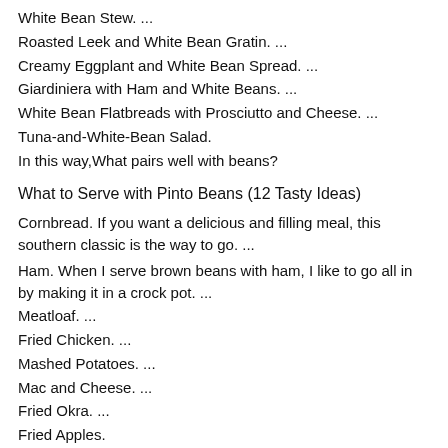White Bean Stew. ...
Roasted Leek and White Bean Gratin. ...
Creamy Eggplant and White Bean Spread. ...
Giardiniera with Ham and White Beans. ...
White Bean Flatbreads with Prosciutto and Cheese. ...
Tuna-and-White-Bean Salad.
In this way,What pairs well with beans?
What to Serve with Pinto Beans (12 Tasty Ideas)
Cornbread. If you want a delicious and filling meal, this southern classic is the way to go. ...
Ham. When I serve brown beans with ham, I like to go all in by making it in a crock pot. ...
Meatloaf. ...
Fried Chicken. ...
Mashed Potatoes. ...
Mac and Cheese. ...
Fried Okra. ...
Fried Apples.
Subsequently,What main dishes go with beans?
The most complementing dishes that go well with baked